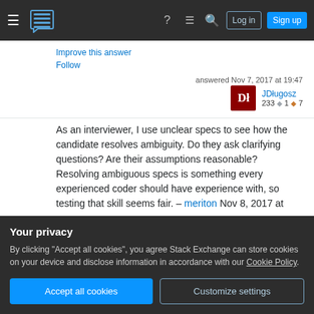Stack Exchange navigation bar with hamburger menu, logo, help, chat, search icons, Log in and Sign up buttons
Improve this answer
Follow
answered Nov 7, 2017 at 19:47
JDługosz 233 ◆1 ◆7
As an interviewer, I use unclear specs to see how the candidate resolves ambiguity. Do they ask clarifying questions? Are their assumptions reasonable? Resolving ambiguous specs is something every experienced coder should have experience with, so testing that skill seems fair. – meriton Nov 8, 2017 at
Your privacy
By clicking "Accept all cookies", you agree Stack Exchange can store cookies on your device and disclose information in accordance with our Cookie Policy.
Accept all cookies
Customize settings